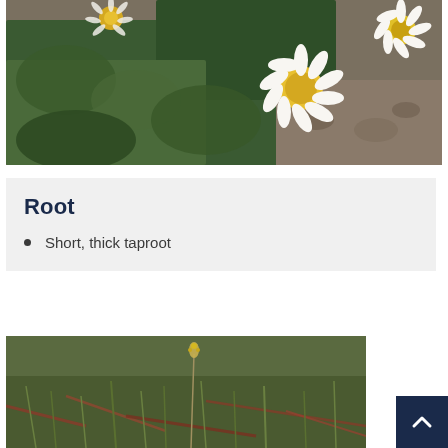[Figure (photo): Close-up photograph of chamomile flowers with white petals and yellow centres, surrounded by green feathery foliage, on a blurred rocky background.]
Root
Short, thick taproot
[Figure (photo): Photograph of grass and low plants on the ground, with a thin plant stem visible in the centre.]